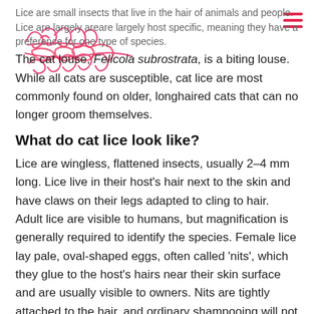Lice are small insects that live in the hair of animals and people. Lice are largely areare largely host specific, meaning they have a preference for one type of species. The cat louse, Felicola subrostrata, is a biting louse. While all cats are susceptible, cat lice are most commonly found on older, longhaired cats that can no longer groom themselves.
What do cat lice look like?
Lice are wingless, flattened insects, usually 2–4 mm long. Lice live in their host's hair next to the skin and have claws on their legs adapted to cling to hair. Adult lice are visible to humans, but magnification is generally required to identify the species. Female lice lay pale, oval-shaped eggs, often called 'nits', which they glue to the host's hairs near their skin surface and are usually visible to owners. Nits are tightly attached to the hair, and ordinary shampooing will not dislodge them. It takes three to four